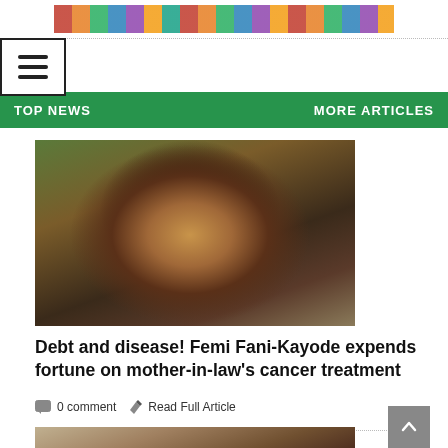[Figure (photo): Colorful African textile/pattern banner at the top of the page]
TOP NEWS    MORE ARTICLES
[Figure (photo): Photo of Femi Fani-Kayode, a man in a dark suit with a light blue shirt, seated, looking upward]
Debt and disease! Femi Fani-Kayode expends fortune on mother-in-law's cancer treatment
0 comment    Read Full Article
[Figure (photo): Photo of a bald man, partially visible, smiling]